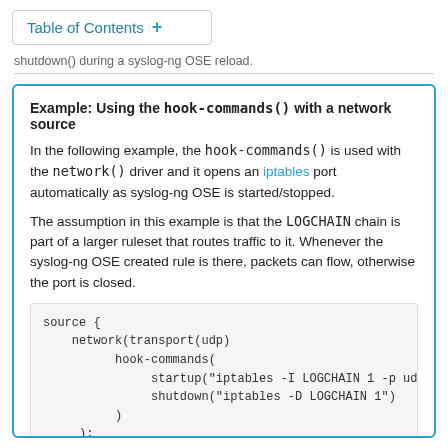Table of Contents +
shutdown() during a syslog-ng OSE reload.
Example: Using the hook-commands() with a network source
In the following example, the hook-commands() is used with the network() driver and it opens an iptables port automatically as syslog-ng OSE is started/stopped.
The assumption in this example is that the LOGCHAIN chain is part of a larger ruleset that routes traffic to it. Whenever the syslog-ng OSE created rule is there, packets can flow, otherwise the port is closed.
source {
    network(transport(udp)
          hook-commands(
               startup("iptables -I LOGCHAIN 1 -p udp --dpor
               shutdown("iptables -D LOGCHAIN 1")
          )
     );
};